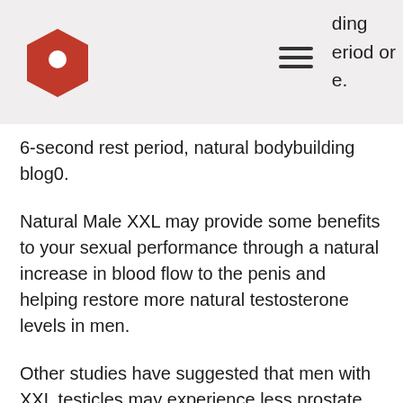…ding …period or …e.
6-second rest period, natural bodybuilding blog0.
Natural Male XXL may provide some benefits to your sexual performance through a natural increase in blood flow to the penis and helping restore more natural testosterone levels in men.
Other studies have suggested that men with XXL testicles may experience less prostate cancer over their lifetimes.
Many people believe that men can only have XX chromosomes or XX chromosomes and no XXYY blood to support our bodies. Research shows that most men with the…